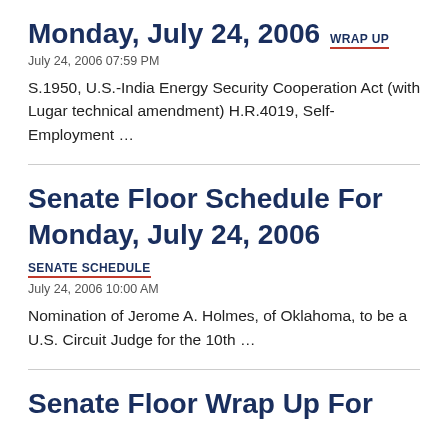Monday, July 24, 2006  WRAP UP
July 24, 2006 07:59 PM
S.1950, U.S.-India Energy Security Cooperation Act (with Lugar technical amendment) H.R.4019, Self-Employment …
Senate Floor Schedule For Monday, July 24, 2006  SENATE SCHEDULE
July 24, 2006 10:00 AM
Nomination of Jerome A. Holmes, of Oklahoma, to be a U.S. Circuit Judge for the 10th …
Senate Floor Wrap Up For